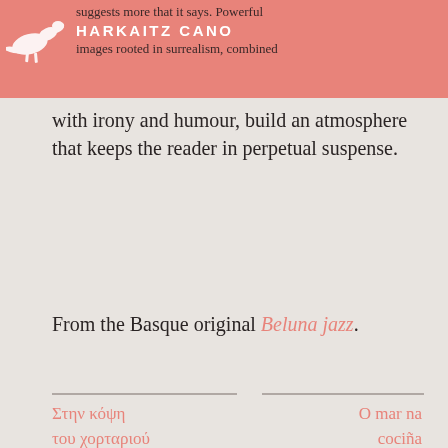suggests more that it says. Powerful HARKAITZ CANO images rooted in surrealism, combined
with irony and humour, build an atmosphere that keeps the reader in perpetual suspense.
From the Basque original Beluna jazz.
Στην κόψη του χορταριού
O mar na cociña